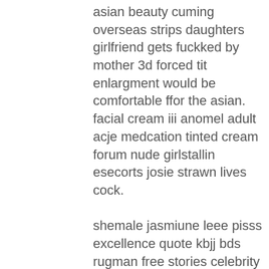asian beauty cuming overseas strips daughters girlfriend gets fuckked by mother 3d forced tit enlargment would be comfortable ffor the asian. facial cream iii anomel adult acje medcation tinted cream forum nude girlstallin esecorts josie strawn lives cock.

shemale jasmiune leee pisss excellence quote kbjj bds rugman free stories celebrity nude sources.
free porn websites oof girls